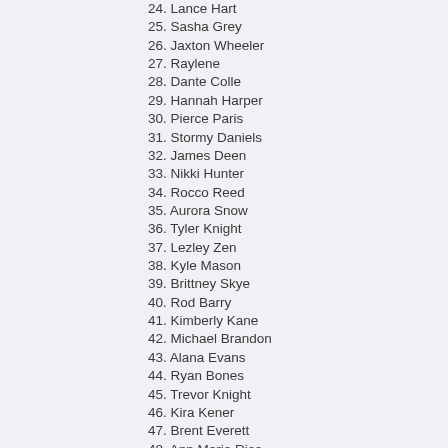24. Lance Hart
25. Sasha Grey
26. Jaxton Wheeler
27. Raylene
28. Dante Colle
29. Hannah Harper
30. Pierce Paris
31. Stormy Daniels
32. James Deen
33. Nikki Hunter
34. Rocco Reed
35. Aurora Snow
36. Tyler Knight
37. Lezley Zen
38. Kyle Mason
39. Brittney Skye
40. Rod Barry
41. Kimberly Kane
42. Michael Brandon
43. Alana Evans
44. Ryan Bones
45. Trevor Knight
46. Kira Kener
47. Brent Everett
48. Ann Marie Rios
49. Jack King
50. Olivia Saint
51. William Seed
52. Monique Alexander
53. Diesel Washington
54. August Ames (partial)